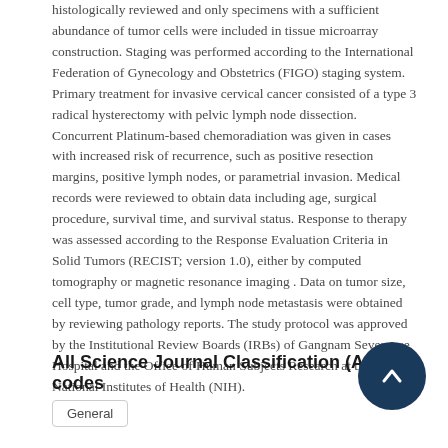histologically reviewed and only specimens with a sufficient abundance of tumor cells were included in tissue microarray construction. Staging was performed according to the International Federation of Gynecology and Obstetrics (FIGO) staging system. Primary treatment for invasive cervical cancer consisted of a type 3 radical hysterectomy with pelvic lymph node dissection. Concurrent Platinum-based chemoradiation was given in cases with increased risk of recurrence, such as positive resection margins, positive lymph nodes, or parametrial invasion. Medical records were reviewed to obtain data including age, surgical procedure, survival time, and survival status. Response to therapy was assessed according to the Response Evaluation Criteria in Solid Tumors (RECIST; version 1.0), either by computed tomography or magnetic resonance imaging . Data on tumor size, cell type, tumor grade, and lymph node metastasis were obtained by reviewing pathology reports. The study protocol was approved by the Institutional Review Boards (IRBs) of Gangnam Severance Hospital and the Office of Human Subjects Research at the National Institutes of Health (NIH).
All Science Journal Classification (ASJC) codes
General